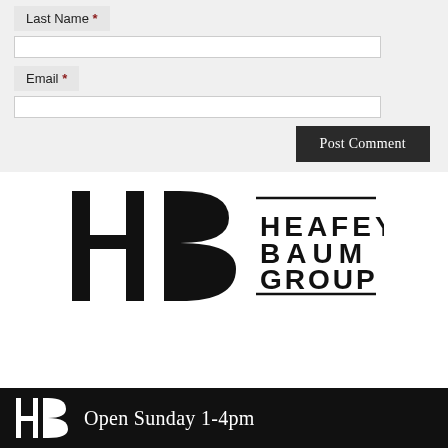Last Name *
Email *
Post Comment
[Figure (logo): Heafey Baum Group logo with HB lettermark and horizontal rules]
[Figure (logo): Black banner with Heafey Baum Group logo and text: Open Sunday 1-4pm]